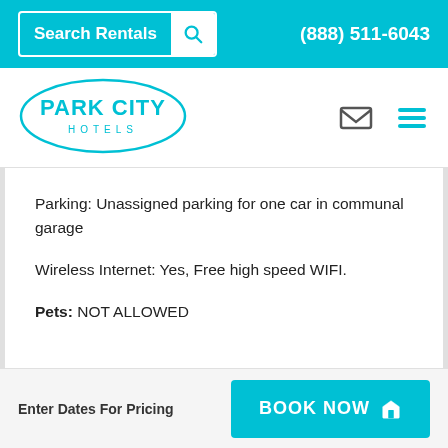Search Rentals  (888) 511-6043
[Figure (logo): Park City Hotels logo — oval outline with PARK CITY in large text and HOTELS below in smaller spaced letters, cyan/teal color]
Parking: Unassigned parking for one car in communal garage
Wireless Internet: Yes, Free high speed WIFI.
Pets: NOT ALLOWED
Enter Dates For Pricing   BOOK NOW